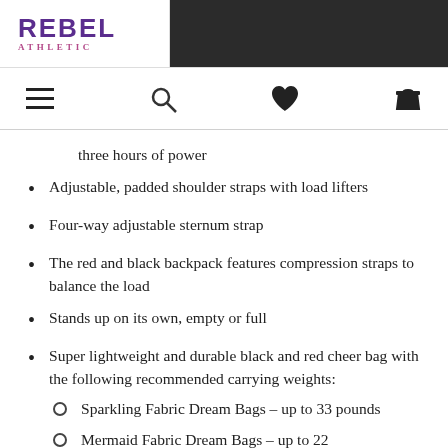REBEL ATHLETIC
three hours of power
Adjustable, padded shoulder straps with load lifters
Four-way adjustable sternum strap
The red and black backpack features compression straps to balance the load
Stands up on its own, empty or full
Super lightweight and durable black and red cheer bag with the following recommended carrying weights:
Sparkling Fabric Dream Bags – up to 33 pounds
Mermaid Fabric Dream Bags – up to 22